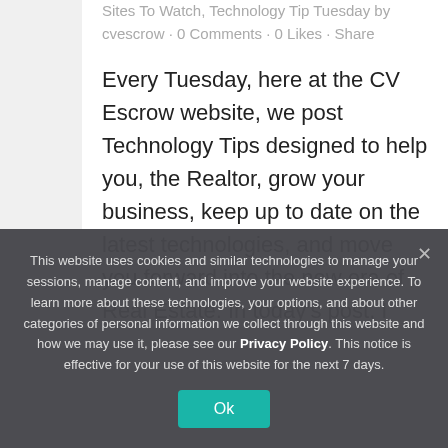Sites To Watch, Technology Tip Tuesday by cvescrow · 0 Comments · 0 Likes · Share
Every Tuesday, here at the CV Escrow website, we post Technology Tips designed to help you, the Realtor, grow your business, keep up to date on the latest technologies, and move you forward into the new era of Real Estate. In today's post, I
This website uses cookies and similar technologies to manage your sessions, manage content, and improve your website experience. To learn more about these technologies, your options, and about other categories of personal information we collect through this website and how we may use it, please see our Privacy Policy. This notice is effective for your use of this website for the next 7 days.
Ok